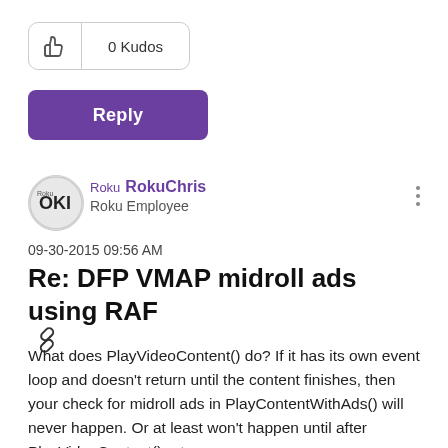[Figure (other): Kudos button with thumbs up icon and '0 Kudos' label, styled as a pill/badge with border]
[Figure (other): Purple 'Reply' button]
[Figure (other): Roku employee avatar logo circle with 'OKI' text inside]
Roku RokuChris
Roku Employee
09-30-2015 09:56 AM
Re: DFP VMAP midroll ads using RAF
What does PlayVideoContent() do? If it has its own event loop and doesn't return until the content finishes, then your check for midroll ads in PlayContentWithAds() will never happen. Or at least won't happen until after PlayVideoContent() returns.